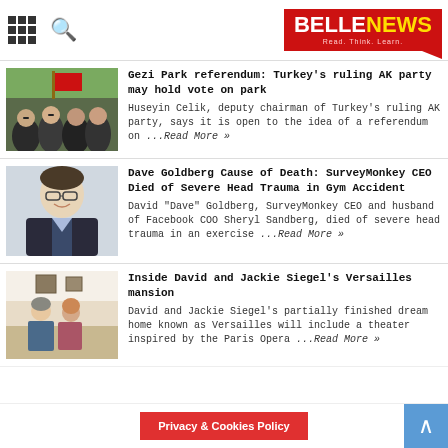BELLENEWS Read. Think. Learn.
[Figure (photo): Crowd of protesters waving Turkish flags at Gezi Park]
Gezi Park referendum: Turkey's ruling AK party may hold vote on park
Huseyin Celik, deputy chairman of Turkey's ruling AK party, says it is open to the idea of a referendum on ...Read More »
[Figure (photo): Portrait photo of Dave Goldberg, SurveyMonkey CEO, smiling man in suit]
Dave Goldberg Cause of Death: SurveyMonkey CEO Died of Severe Head Trauma in Gym Accident
David "Dave" Goldberg, SurveyMonkey CEO and husband of Facebook COO Sheryl Sandberg, died of severe head trauma in an exercise ...Read More »
[Figure (photo): David and Jackie Siegel posing inside their Versailles mansion]
Inside David and Jackie Siegel's Versailles mansion
David and Jackie Siegel's partially finished dream home known as Versailles will include a theater inspired by the Paris Opera ...Read More »
Privacy & Cookies Policy